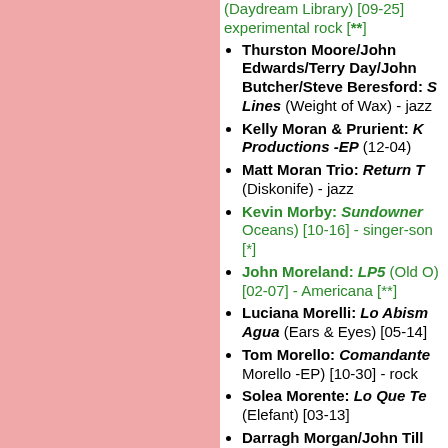[Figure (other): Pink/salmon colored rectangle occupying the left column of the page]
(Daydream Library) [09-25] - experimental rock [**]
Thurston Moore/John Edwards/Terry Day/John Butcher/Steve Beresford: S Lines (Weight of Wax) - jazz
Kelly Moran & Prurient: K Productions -EP (12-04)
Matt Moran Trio: Return T (Diskonife) - jazz
Kevin Morby: Sundowner (Oceans) [10-16] - singer-songwriter [*]
John Moreland: LP5 (Old O) [02-07] - Americana [**]
Luciana Morelli: Lo Abismo Agua (Ears & Eyes) [05-14]
Tom Morello: Comandante (Morello -EP) [10-30] - rock
Solea Morente: Lo Que Te (Elefant) [03-13]
Darragh Morgan/John Till Morton Feldman: For John (Diatribe) [04-06] - classical
Sally Anne Morgan: Three